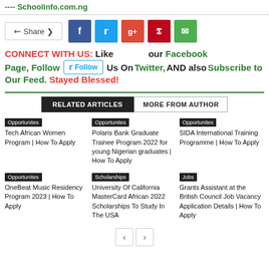---- Schoolinfo.com.ng
[Figure (screenshot): Share button row with social media icons: Share, Facebook, Twitter, Google+, Pinterest, WhatsApp]
CONNECT WITH US: Like our Facebook Page, Follow Us On Twitter, AND also Subscribe to Our Feed. Stayed Blessed!
RELATED ARTICLES | MORE FROM AUTHOR
Opportunites - Tech African Women Program | How To Apply
Opportunites - Polaris Bank Graduate Trainee Program 2022 for young Nigerian graduates | How To Apply
Opportunites - SIDA International Training Programme | How To Apply
Opportunites - OneBeat Music Residency Program 2023 | How To Apply
Scholarships - University Of California MasterCard African 2022 Scholarships To Study In The USA
Jobs - Grants Assistant at the British Council Job Vacancy Application Details | How To Apply